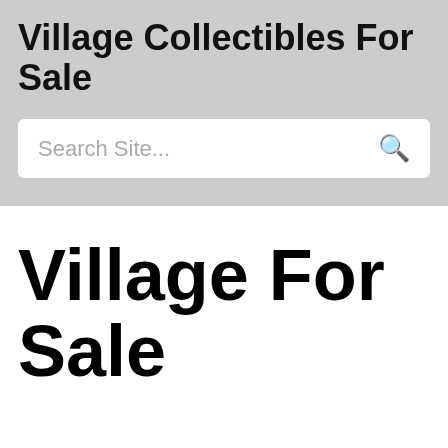Village Collectibles For Sale
Search Site...
Village For Sale